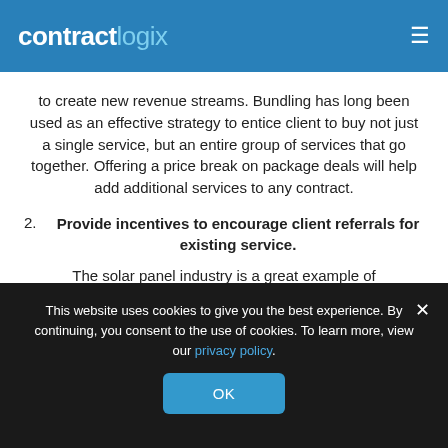contractlogix
to create new revenue streams. Bundling has long been used as an effective strategy to entice client to buy not just a single service, but an entire group of services that go together. Offering a price break on package deals will help add additional services to any contract.
2. Provide incentives to encourage client referrals for existing service.
The solar panel industry is a great example of
This website uses cookies to give you the best experience. By continuing, you consent to the use of cookies. To learn more, view our privacy policy.